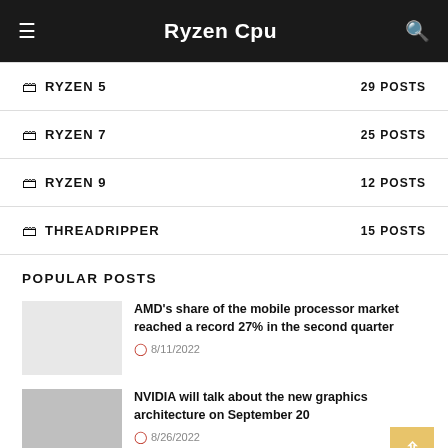Ryzen Cpu
RYZEN 5 — 29 POSTS
RYZEN 7 — 25 POSTS
RYZEN 9 — 12 POSTS
THREADRIPPER — 15 POSTS
POPULAR POSTS
AMD's share of the mobile processor market reached a record 27% in the second quarter
8/11/2022
NVIDIA will talk about the new graphics architecture on September 20
8/26/2022